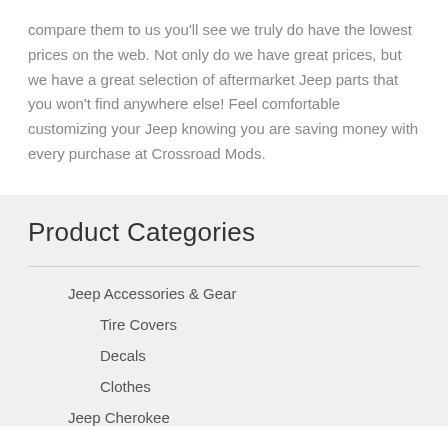compare them to us you'll see we truly do have the lowest prices on the web. Not only do we have great prices, but we have a great selection of aftermarket Jeep parts that you won't find anywhere else! Feel comfortable customizing your Jeep knowing you are saving money with every purchase at Crossroad Mods.
Product Categories
Jeep Accessories & Gear
Tire Covers
Decals
Clothes
Jeep Cherokee